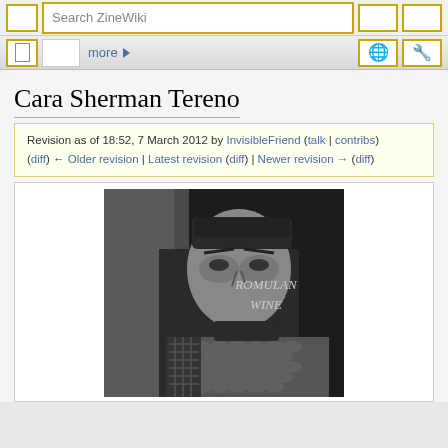Search ZineWiki
Cara Sherman Tereno
Revision as of 18:52, 7 March 2012 by InvisibleFriend (talk | contribs) (diff) ← Older revision | Latest revision (diff) | Newer revision → (diff)
[Figure (photo): Black and white illustration/photo of a person in Romulan costume from Star Trek, with text 'ROMULAN WINE' visible on the right side of the image]